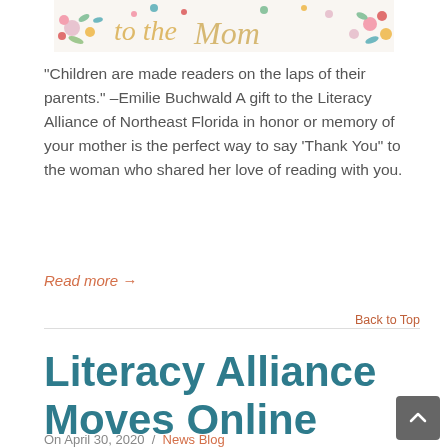[Figure (illustration): Decorative floral banner with colorful flowers and foliage on a white background]
“Children are made readers on the laps of their parents.” –Emilie Buchwald A gift to the Literacy Alliance of Northeast Florida in honor or memory of your mother is the perfect way to say ‘Thank You” to the woman who shared her love of reading with you.
Read more →
Back to Top
Literacy Alliance Moves Online
On April 30, 2020  /  News Blog